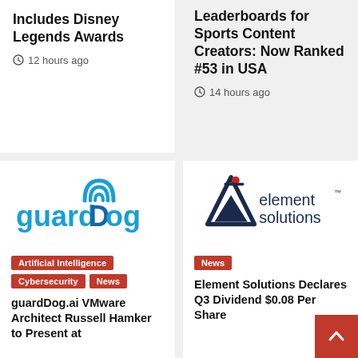Includes Disney Legends Awards
12 hours ago
Leaderboards for Sports Content Creators: Now Ranked #53 in USA
14 hours ago
[Figure (logo): guardDog.ai logo — blue text with wifi signal arcs above the 'o' in Dog]
Artificial Intelligence
Cybersecurity
News
guardDog.ai VMware Architect Russell Hamker to Present at
[Figure (logo): Element Solutions logo — hourglass/flask triangle icon in dark navy with red accent, text 'element solutions']
News
Element Solutions Declares Q3 Dividend $0.08 Per Share